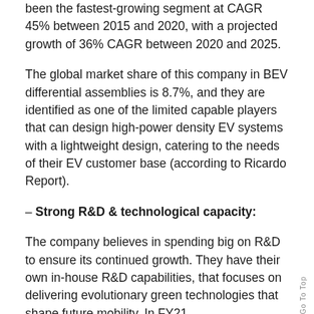been the fastest-growing segment at CAGR 45% between 2015 and 2020, with a projected growth of 36% CAGR between 2020 and 2025.
The global market share of this company in BEV differential assemblies is 8.7%, and they are identified as one of the limited capable players that can design high-power density EV systems with a lightweight design, catering to the needs of their EV customer base (according to Ricardo Report).
– Strong R&D & technological capacity:
The company believes in spending big on R&D to ensure its continued growth. They have their own in-house R&D capabilities, that focuses on delivering evolutionary green technologies that shape future mobility. In FY21